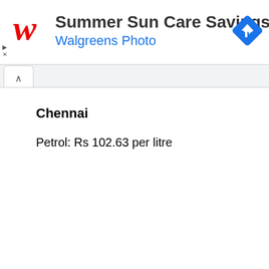[Figure (screenshot): Walgreens advertisement banner with red cursive W logo, text 'Summer Sun Care Savings' and 'Walgreens Photo' in blue, and a blue navigation diamond icon on the right. Play and close controls on left side.]
Chennai
Petrol: Rs 102.63 per litre